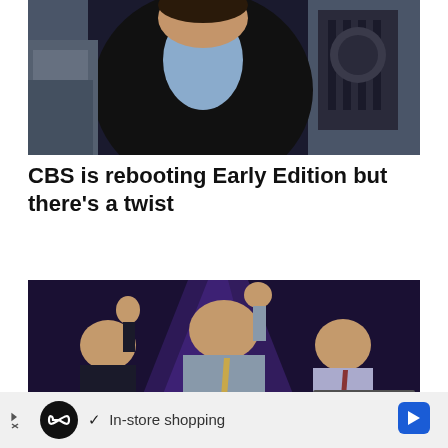[Figure (photo): Person in black leather jacket with a trophy/award in the background, upper body visible]
CBS is rebooting Early Edition but there’s a twist
[Figure (photo): Three men on a stage with purple lighting. Center man in grey suit with raised fist, left man in dark suit applauding, right man in light suit standing at podium.]
In-store shopping